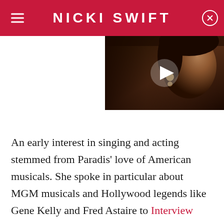NICKI SWIFT
[Figure (screenshot): Video thumbnail showing a woman's face with a play button overlay, dark background]
An early interest in singing and acting stemmed from Paradis' love of American musicals. She spoke in particular about MGM musicals and Hollywood legends like Gene Kelly and Fred Astaire to Interview magazine, saying, "It was the colors and the music and the big